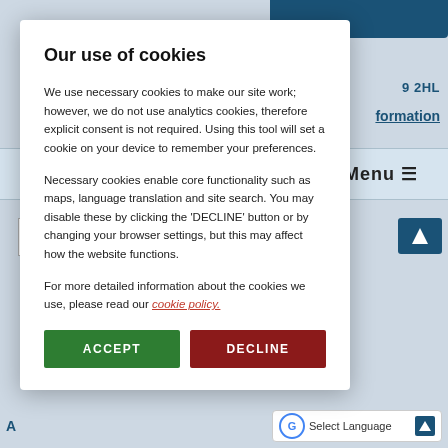[Figure (screenshot): Background screenshot of a government website showing navigation bar with Menu button, address text '9 2HL', a link showing 'formation', a search bar, and a Google Select Language widget at the bottom.]
Our use of cookies
We use necessary cookies to make our site work; however, we do not use analytics cookies, therefore explicit consent is not required. Using this tool will set a cookie on your device to remember your preferences.
Necessary cookies enable core functionality such as maps, language translation and site search. You may disable these by clicking the 'DECLINE' button or by changing your browser settings, but this may affect how the website functions.
For more detailed information about the cookies we use, please read our cookie policy.